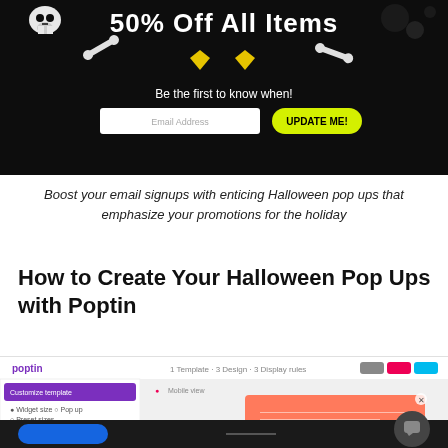[Figure (screenshot): Halloween promotional pop-up banner with dark background, '50% Off All Items' text, skull/bone decorations, email input field, and yellow 'UPDATE ME!' button]
Boost your email signups with enticing Halloween pop ups that emphasize your promotions for the holiday
How to Create Your Halloween Pop Ups with Poptin
[Figure (screenshot): Poptin dashboard interface showing popup editor with settings panel on left and orange popup preview on right]